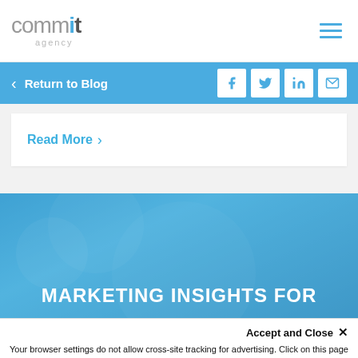[Figure (logo): Commit Agency logo — 'commit' in grey/dark sans-serif with a blue dot over the 'i', 'agency' in light grey below]
[Figure (other): Hamburger menu icon — three horizontal blue lines]
< Return to Blog
[Figure (other): Social share icons: Facebook, Twitter, LinkedIn, Email — white icons on blue background squares]
Read More >
MARKETING INSIGHTS FOR
Accept and Close ×
Your browser settings do not allow cross-site tracking for advertising. Click on this page to allow AdRoll to use cross-site tracking to tailor ads to you. Learn more or opt out of this AdRoll tracking by clicking here. This message only appears once.